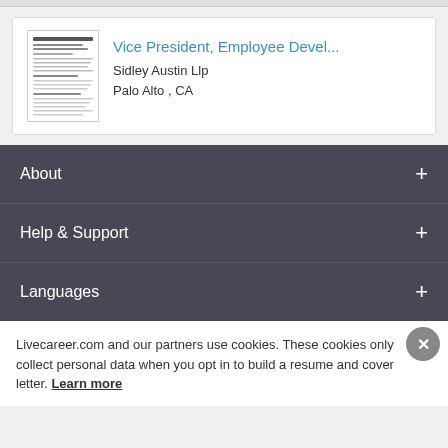[Figure (screenshot): Job listing card showing a resume thumbnail, job title 'Vice President, Employee Devel...', company 'Sidley Austin Llp', location 'Palo Alto , CA']
About
Help & Support
Languages
Livecareer.com and our partners use cookies. These cookies only collect personal data when you opt in to build a resume and cover letter. Learn more